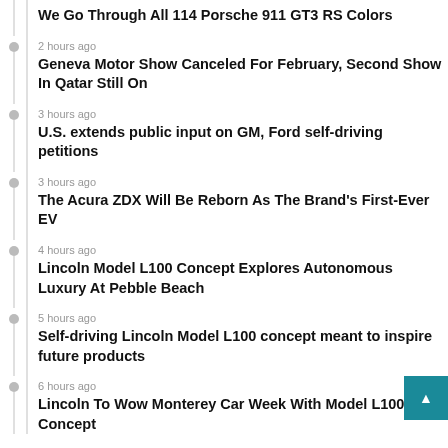We Go Through All 114 Porsche 911 GT3 RS Colors
2 hours ago
Geneva Motor Show Canceled For February, Second Show In Qatar Still On
3 hours ago
U.S. extends public input on GM, Ford self-driving petitions
3 hours ago
The Acura ZDX Will Be Reborn As The Brand's First-Ever EV
4 hours ago
Lincoln Model L100 Concept Explores Autonomous Luxury At Pebble Beach
5 hours ago
Self-driving Lincoln Model L100 concept meant to inspire future products
6 hours ago
Lincoln To Wow Monterey Car Week With Model L100 Concept